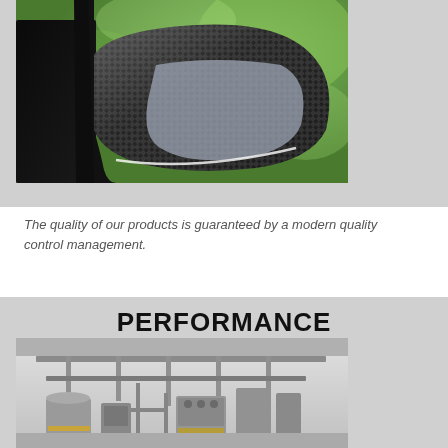[Figure (photo): Close-up photo of a carbon fiber car side mirror against a blurred green background. The mirror cap has a distinctive diagonal weave pattern typical of carbon fiber composite material.]
The quality of our products is guaranteed by a modern quality control management.
PERFORMANCE
[Figure (photo): Interior photo of an industrial manufacturing facility showing metal piping, machinery, and equipment on a production floor. Yellow safety markings visible on the floor.]